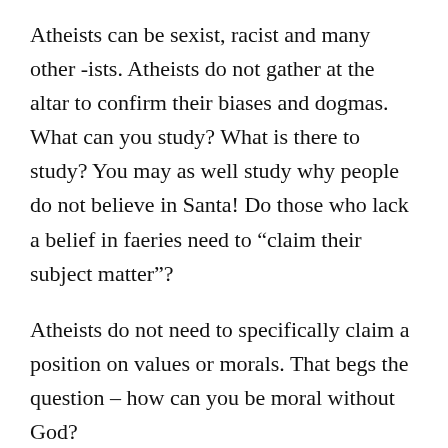Atheists can be sexist, racist and many other -ists. Atheists do not gather at the altar to confirm their biases and dogmas. What can you study? What is there to study? You may as well study why people do not believe in Santa! Do those who lack a belief in faeries need to “claim their subject matter”?
Atheists do not need to specifically claim a position on values or morals. That begs the question – how can you be moral without God?
I am an atheist and I claim no subject matter. I simply lack any belief in any supernatural intent of creation. The Avis God logif...